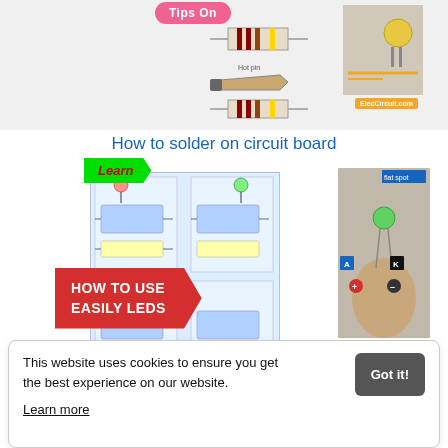[Figure (illustration): Thumbnail image showing 'Tips On' badge over resistor/soldering on circuit board diagram, with ElecCircuit.com watermark]
How to solder on circuit board
[Figure (illustration): Learn badge, LED circuit diagrams, 'HOW TO USE EASILY LEDs' red arrow banner, LED photo with flat spot, anode/cathode labels, ElecCircuit.com watermark]
How to use easily LEDs
This website uses cookies to ensure you get the best experience on our website.
Learn more
Got it!